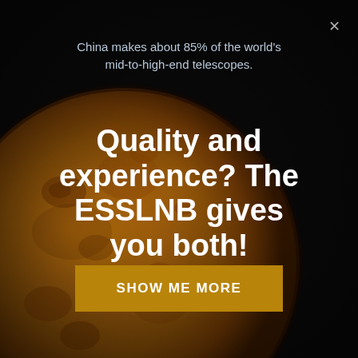[Figure (illustration): Dark background with a large orange/amber full moon occupying the left-center area of the image, showing lunar surface detail, set against a black night sky.]
China makes about 85% of the world's mid-to-high-end telescopes.
Quality and experience? The ESSLNB gives you both!
SHOW ME MORE